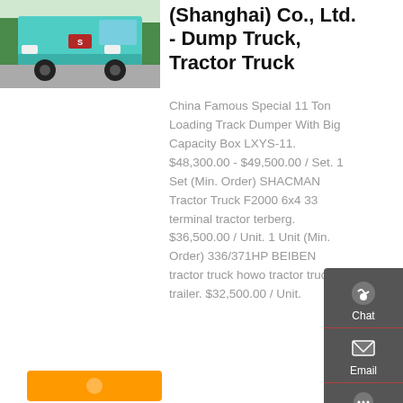[Figure (photo): Front view of a teal/cyan heavy dump truck (HOWO/SINOTRUK) parked outdoors]
(Shanghai) Co., Ltd. - Dump Truck, Tractor Truck
China Famous Special 11 Ton Loading Track Dumper With Big Capacity Box LXYS-11. $48,300.00 - $49,500.00 / Set. 1 Set (Min. Order) SHACMAN Tractor Truck F2000 6x4 33 terminal tractor terberg. $36,500.00 / Unit. 1 Unit (Min. Order) 336/371HP BEIBEN tractor truck howo tractor truck. trailer. $32,500.00 / Unit.